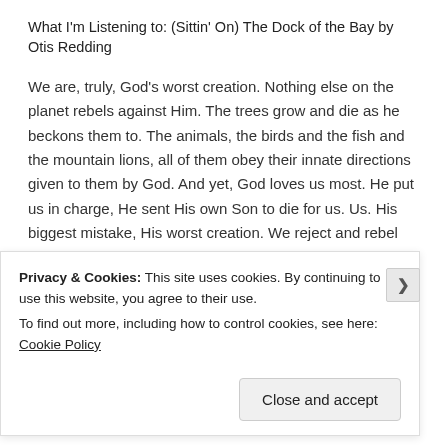What I'm Listening to: (Sittin' On) The Dock of the Bay by Otis Redding
We are, truly, God's worst creation. Nothing else on the planet rebels against Him. The trees grow and die as he beckons them to. The animals, the birds and the fish and the mountain lions, all of them obey their innate directions given to them by God. And yet, God loves us most. He put us in charge, He sent His own Son to die for us. Us. His biggest mistake, His worst creation. We reject and rebel against Him at every turn. He should have long ago stripped our responsibilities away, reduced us to nothingness and let something more worthy step into our place. Something more obedient. But He didn't. He knew we would fail, but He gave us the job anyway.
Privacy & Cookies: This site uses cookies. By continuing to use this website, you agree to their use.
To find out more, including how to control cookies, see here: Cookie Policy
Close and accept